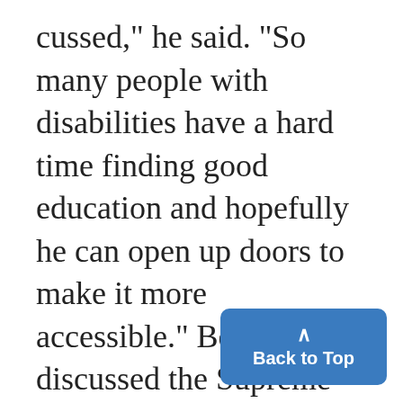cussed," he said. "So many people with disabilities have a hard time finding good education and hopefully he can open up doors to make it more accessible." Bernstein discussed the Supreme Court justice election process, generally voicing his support for it but identifying one main flaw. Candidates are nominated by their respective parties, but the race is billed as non-partisan and candidates are elected rather than appointed. He said